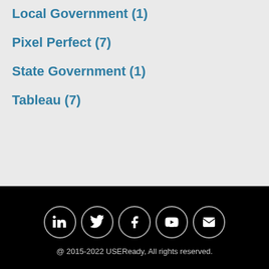Local Government (1)
Pixel Perfect (7)
State Government (1)
Tableau (7)
[Figure (other): Social media icons row: LinkedIn, Twitter, Facebook, YouTube, Email — white icons in circular outlines on black background]
@ 2015-2022 USEReady, All rights reserved.